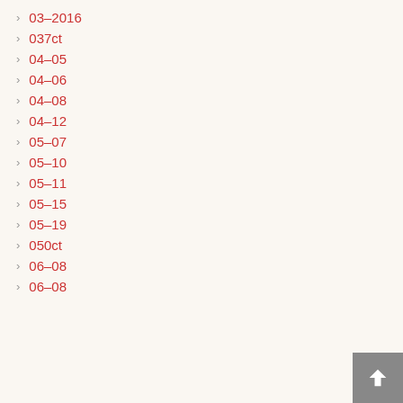03-2016
037ct
04-05
04-06
04-08
04-12
05-07
05-10
05-11
05-15
05-19
050ct
06-08
06-08